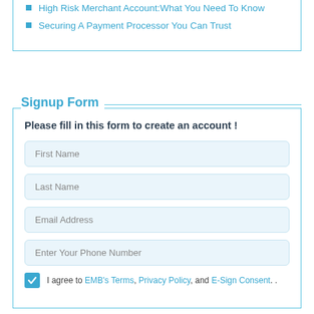High Risk Merchant Account:What You Need To Know
Securing A Payment Processor You Can Trust
Signup Form
Please fill in this form to create an account !
First Name
Last Name
Email Address
Enter Your Phone Number
I agree to EMB's Terms, Privacy Policy, and E-Sign Consent.